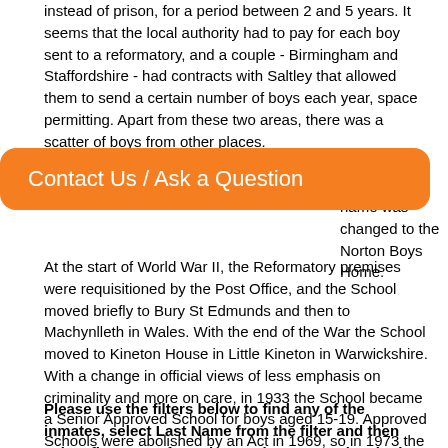instead of prison, for a period between 2 and 5 years. It seems that the local authority had to pay for each boy sent to a reformatory, and a couple - Birmingham and Staffordshire - had contracts with Saltley that allowed them to send a certain number of boys each year, space permitting. Apart from these two areas, there was a scatter of boys from other places.
[Figure (other): Orange rounded button overlay with text 'Contact Us / Ask a Question']
name was changed to the Norton Boys Home.
At the start of World War II, the Reformatory premises were requisitioned by the Post Office, and the School moved briefly to Bury St Edmunds and then to Machynlleth in Wales. With the end of the War the School moved to Kineton House in Little Kineton in Warwickshire. With a change in official views of less emphasis on criminality and more on care, in 1933 the School became a Senior Approved School for boys aged 15-19. Approved Schools were abolished by an Act in 1969, so in 1973 the School became an Assisted Community Home, with the School being run by a Board of Trustees but financed by Warwickshire County Council. Policy changed again and in 1985 the School closed, and the assets went back to the Trustees and were used for charitable purposes.
Please use the filters below to find any of the inmates, select Last Name from the filter and then select first name from the results OR use the single word search box below the table. For full details of the transcribed record please click on the last name for